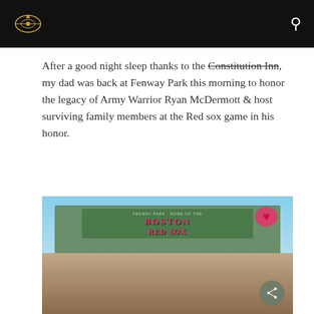[Logo] [Search icon]
After a good night sleep thanks to the Constitution Inn, my dad was back at Fenway Park this morning to honor the legacy of Army Warrior Ryan McDermott & host surviving family members at the Red sox game in his honor.
[Figure (photo): Three people smiling in front of the Fenway Park Boston Red Sox sign on a sunny day. A share button is visible in the lower right.]